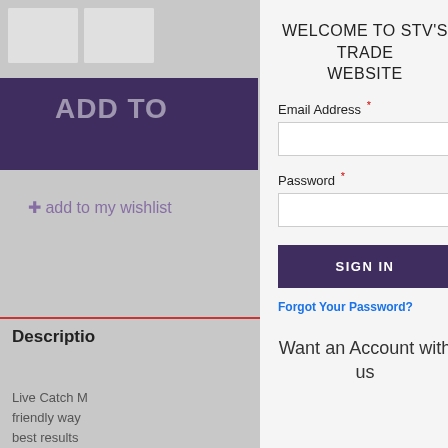[Figure (screenshot): Background of a website product page showing a purple banner with 'ADD TO' text, 'add to my wishlist' link, a 'Description' section header with partial text about Live Catch Mouse Trap, and a 'Reviews' section header. The background is grayed out behind a login modal overlay.]
WELCOME TO STV'S TRADE WEBSITE
Email Address *
Password *
SIGN IN
Forgot Your Password?
Want an Account with us